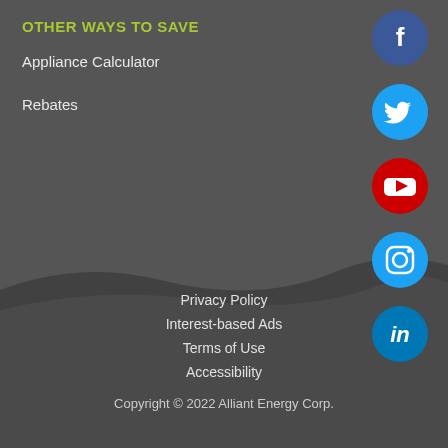OTHER WAYS TO SAVE
Appliance Calculator
Rebates
[Figure (illustration): Facebook social media icon — blue circle with white F]
[Figure (illustration): Twitter social media icon — cyan circle with white bird]
[Figure (illustration): YouTube social media icon — red circle with white play button]
[Figure (illustration): Instagram social media icon — cyan circle with white camera outline]
[Figure (illustration): LinkedIn social media icon — blue circle with white 'in']
Privacy Policy
Interest-based Ads
Terms of Use
Accessibility
Copyright © 2022 Alliant Energy Corp.